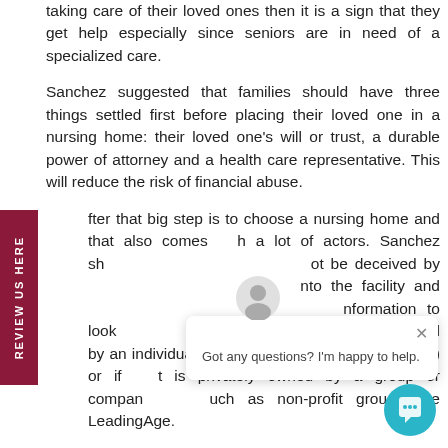taking care of their loved ones then it is a sign that they get help especially since seniors are in need of a specialized care.

Sanchez suggested that families should have three things settled first before placing their loved one in a nursing home: their loved one's will or trust, a durable power of attorney and a health care representative. This will reduce the risk of financial abuse.

After that big step is to choose a nursing home and that also comes with a lot of factors. Sanchez sh[ared that families sho]uld not be deceived by [appearances. You look] into the facility and […] information to look [for is whether it is] owned locally or owned by an individual or a group (like board of directors) or if it is privately owned by a group or company such as non-profit groups like LeadingAge.
[Figure (other): Review Us Here vertical sidebar tab in dark red/maroon color with white rotated text]
[Figure (other): Chat popup widget showing avatar icon, close button, and message 'Got any questions? I'm happy to help.' with a teal chat bubble button in the bottom right corner]